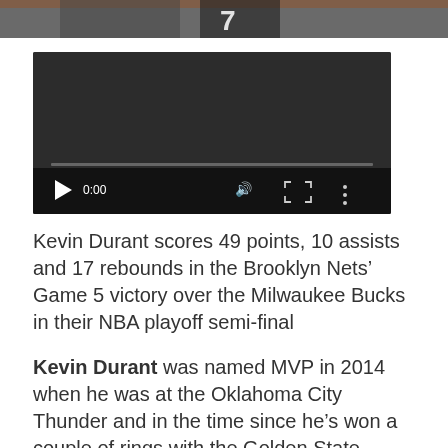[Figure (photo): Top portion of a sports photo showing a basketball player wearing jersey number 7, cropped at top of page.]
[Figure (screenshot): Video player in paused state showing 0:00 timestamp with dark background, play button, volume, fullscreen, and more options controls.]
Kevin Durant scores 49 points, 10 assists and 17 rebounds in the Brooklyn Nets’ Game 5 victory over the Milwaukee Bucks in their NBA playoff semi-final
Kevin Durant was named MVP in 2014 when he was at the Oklahoma City Thunder and in the time since he’s won a couple of rings with the Golden State Warriors, before